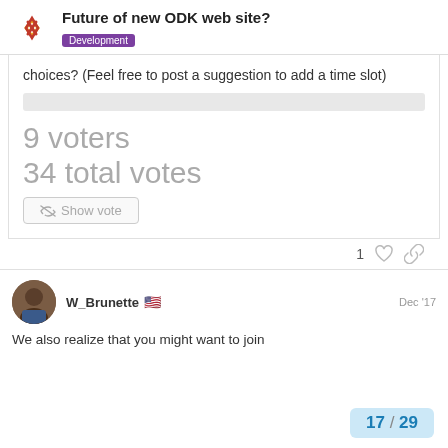Future of new ODK web site? Development
choices? (Feel free to post a suggestion to add a time slot)
9 voters
34 total votes
Show vote
1
W_Brunette 🇺🇸 Dec '17
We also realize that you might want to join
17 / 29